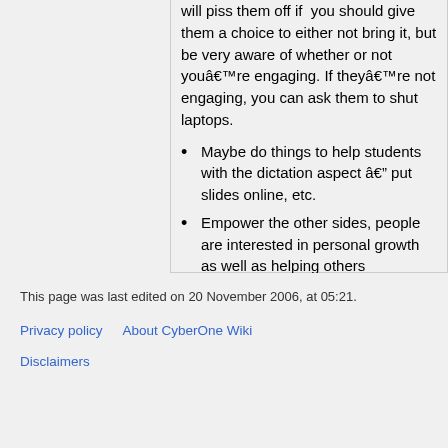will piss them off if you should give them a choice to either not bring it, but be very aware of whether or not you're engaging. If they're not engaging, you can ask them to shut laptops.
Maybe do things to help students with the dictation aspect — put slides online, etc.
Empower the other sides, people are interested in personal growth as well as helping others
This page was last edited on 20 November 2006, at 05:21.
Privacy policy   About CyberOne Wiki
Disclaimers